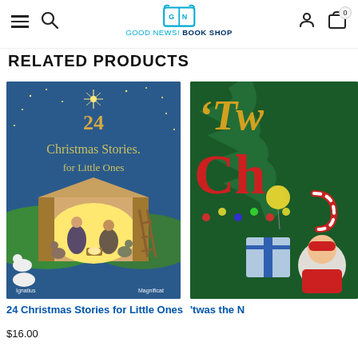GOOD NEWS! BOOK SHOP
RELATED PRODUCTS
[Figure (photo): Book cover of '24 Christmas Stories for Little Ones' showing a nativity scene illustration with Mary, Joseph, animals in a stable under a star-lit sky, published by Ignatius and Magnificat]
24 Christmas Stories for Little Ones
$16.00
[Figure (photo): Partial book cover visible showing Christmas themed illustration with text 'Tw...' and 'Ch...' partially cut off on the right side of the page]
'twas the N